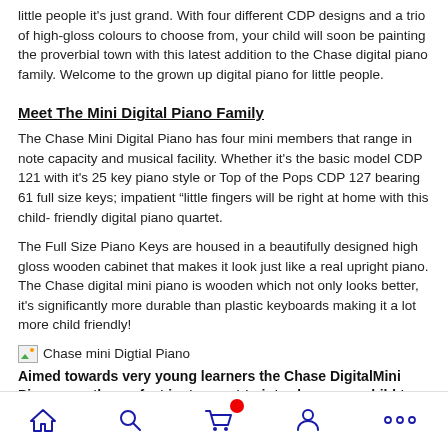little people it's just grand. With four different CDP designs and a trio of high-gloss colours to choose from, your child will soon be painting the proverbial town with this latest addition to the Chase digital piano family. Welcome to the grown up digital piano for little people.
Meet The Mini Digital Piano Family
The Chase Mini Digital Piano has four mini members that range in note capacity and musical facility. Whether it's the basic model CDP 121 with it's 25 key piano style or Top of the Pops CDP 127 bearing 61 full size keys; impatient “little fingers will be right at home with this child- friendly digital piano quartet.
The Full Size Piano Keys are housed in a beautifully designed high gloss wooden cabinet that makes it look just like a real upright piano. The Chase digital mini piano is wooden which not only looks better, it's significantly more durable than plastic keyboards making it a lot more child friendly!
[Figure (illustration): Small broken image icon followed by text: Chase mini Digtial Piano]
Aimed towards very young learners the Chase DigitalMini Pianos are the perfect instrument to introduce your child to the amazing world of music.
If you want to inspire your child to start playing the piano don't
Home | Search | Cart | Account | More